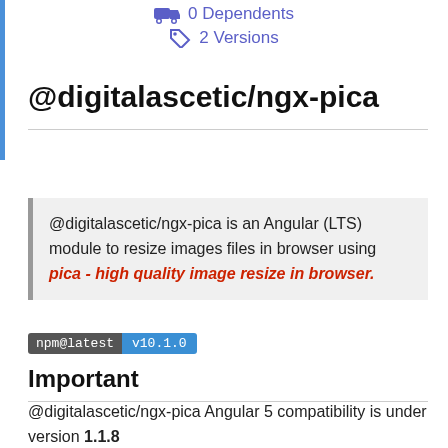0 Dependents
2 Versions
@digitalascetic/ngx-pica
@digitalascetic/ngx-pica is an Angular (LTS) module to resize images files in browser using pica - high quality image resize in browser.
npm@latest v10.1.0
Important
@digitalascetic/ngx-pica Angular 5 compatibility is under version 1.1.8